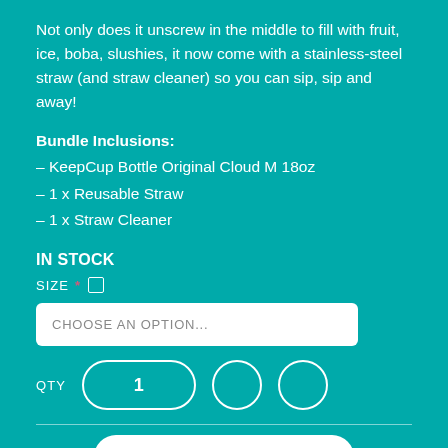Not only does it unscrew in the middle to fill with fruit, ice, boba, slushies, it now come with a stainless-steel straw (and straw cleaner) so you can sip, sip and away!
Bundle Inclusions:
– KeepCup Bottle Original Cloud M 18oz
– 1 x Reusable Straw
– 1 x Straw Cleaner
IN STOCK
SIZE *
CHOOSE AN OPTION...
QTY  1